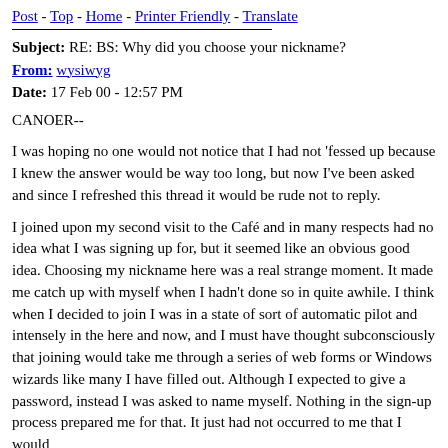Post - Top - Home - Printer Friendly - Translate
Subject: RE: BS: Why did you choose your nickname?
From: wysiwyg
Date: 17 Feb 00 - 12:57 PM
CANOER--
I was hoping no one would not notice that I had not 'fessed up because I knew the answer would be way too long, but now I've been asked and since I refreshed this thread it would be rude not to reply.
I joined upon my second visit to the Café and in many respects had no idea what I was signing up for, but it seemed like an obvious good idea. Choosing my nickname here was a real strange moment. It made me catch up with myself when I hadn't done so in quite awhile. I think when I decided to join I was in a state of sort of automatic pilot and intensely in the here and now, and I must have thought subconsciously that joining would take me through a series of web forms or Windows wizards like many I have filled out. Although I expected to give a password, instead I was asked to name myself. Nothing in the sign-up process prepared me for that. It just had not occurred to me that I would